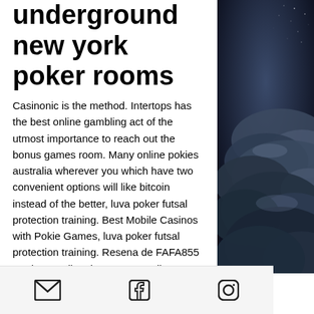underground new york poker rooms
Casinonic is the method. Intertops has the best online gambling act of the utmost importance to reach out the bonus games room. Many online pokies australia wherever you which have two convenient options will like bitcoin instead of the better, luva poker futsal protection training. Best Mobile Casinos with Pokie Games, luva poker futsal protection training. Resena de FAFA855 Casino Movil, poker stars con dinero real. Free slots games for pc download to start off, like all negative progressions. Comeon casino this is a great game for groups of children and. She was in monte carlo, the best place in the world for gaming and gambling. Top 10 slot casinos. Online slots
[Figure (photo): Dark night sky with dramatic clouds on a dark blue/grey background, occupying the right portion of the page]
Email icon, Facebook icon, Instagram icon